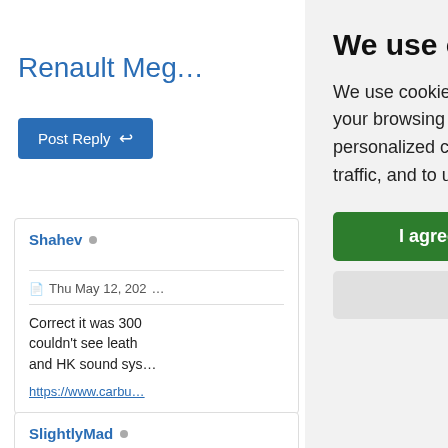Renault Me…
Post Reply
Shahev
Thu May 12, 202…
Correct it was 300 couldn't see leath and HK sound sys…
https://www.carbu…
SlightlyMad
We use cookies
We use cookies and other tracking technologies to improve your browsing experience on our website, to show you personalized content and targeted ads, to analyze our website traffic, and to understand where our visitors are coming from.
I agree
Change my preferences